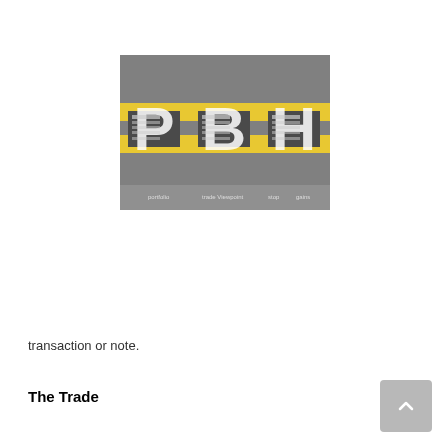[Figure (logo): PBH logo with large white letters P, B, H on a grey background with yellow horizontal stripes, containing small text/table elements within each letter block]
transaction or note.
The Trade